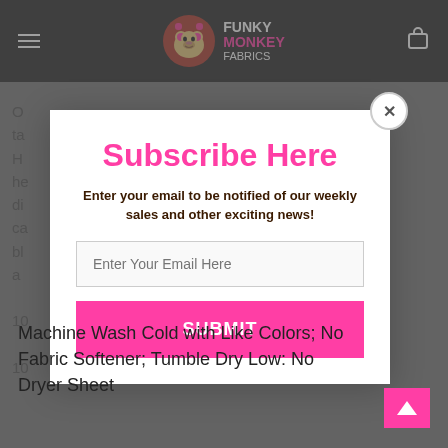Funky Monkey Fabrics
O ta H he di ca bl a
[Figure (screenshot): Subscribe Here modal popup with email input and submit button on Funky Monkey Fabrics website]
Machine Wash Cold with Like Colors; No Fabric Softener; Tumble Dry Low: No Dryer Sheet